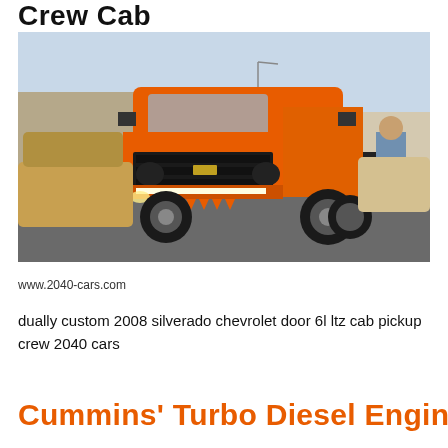Crew Cab
[Figure (photo): Orange custom dually Chevrolet Silverado pickup truck parked in a lot surrounded by other vehicles. A person is working on a car on the right side. The truck has large tires, a light bar on the front bumper, and orange spike-like accents on the lower bumper.]
www.2040-cars.com
dually custom 2008 silverado chevrolet door 6l ltz cab pickup crew 2040 cars
Cummins' Turbo Diesel Engine Is